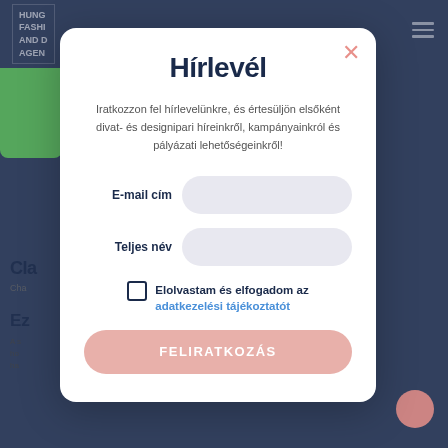[Figure (screenshot): Background of a website with dark navy navigation bar showing 'Hungarian Fashion and Design Agency' logo on left and hamburger menu on right, with partially visible page content underneath a semi-transparent overlay]
Hírlevél
Iratkozzon fel hírlevelünkre, és értesüljön elsőként divat- és designipari híreinkről, kampányainkról és pályázati lehetőségeinkről!
E-mail cím
Teljes név
Elolvastam és elfogadom az adatkezelési tájékoztatót
FELIRATKOZÁS